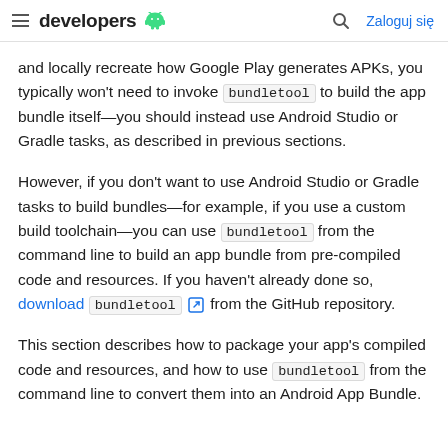developers [android logo] [search icon] Zaloguj się
and locally recreate how Google Play generates APKs, you typically won't need to invoke bundletool to build the app bundle itself—you should instead use Android Studio or Gradle tasks, as described in previous sections.
However, if you don't want to use Android Studio or Gradle tasks to build bundles—for example, if you use a custom build toolchain—you can use bundletool from the command line to build an app bundle from pre-compiled code and resources. If you haven't already done so, download bundletool [external link icon] from the GitHub repository.
This section describes how to package your app's compiled code and resources, and how to use bundletool from the command line to convert them into an Android App Bundle.